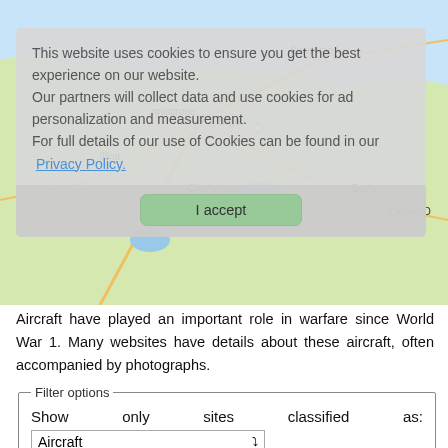[Figure (map): Road map showing area of northwest Ireland including towns Bundoran, Sligo, Enniscrone, Ballina, Charlestown, Boyle, Carrick-On-Shannon]
This website uses cookies to ensure you get the best experience on our website. Our partners will collect data and use cookies for ad personalization and measurement. For full details of our use of Cookies can be found in our Privacy Policy.
I accept
Aircraft have played an important role in warfare since World War 1. Many websites have details about these aircraft, often accompanied by photographs.
Filter options
Show only sites classified as:
Aircraft
Submit